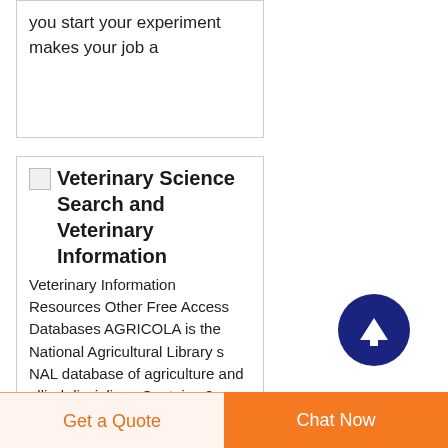you start your experiment makes your job a
[Figure (illustration): Small thumbnail image icon in top-left corner of card]
Veterinary Science Search and Veterinary Information
Veterinary Information Resources Other Free Access Databases AGRICOLA is the National Agricultural Library s NAL database of agriculture and allied disciplines Contains 2 databases 1 journal article citations and 2 holdings records in agriculture and allied disciplines and f
[Figure (illustration): Dark navy blue circle with white upward arrow icon (scroll-to-top button)]
Get a Quote
Chat Now